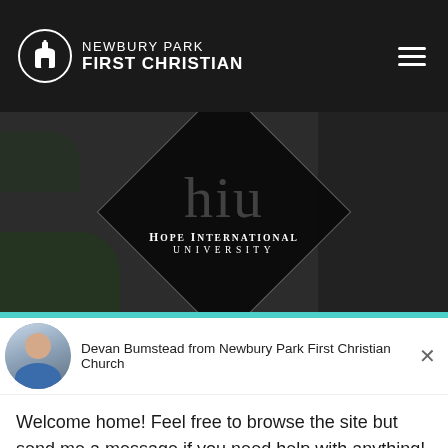NEWBURY PARK FIRST CHRISTIAN
[Figure (photo): Hope International University logo on dark background with diamond shape and dimmed 'HIU' text]
Devan Bumstead from Newbury Park First Christian Church
Welcome home! Feel free to browse the site but send me a message if you need help with anything!
Reply to Devan Bumstead
Chat ⚡ by Drift